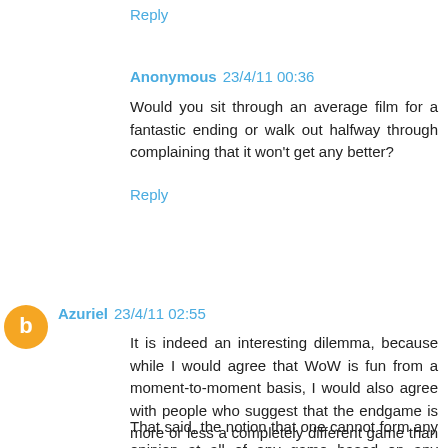Reply
Anonymous 23/4/11 00:36
Would you sit through an average film for a fantastic ending or walk out halfway through complaining that it won't get any better?
Reply
Azuriel 23/4/11 02:55
It is indeed an interesting dilemma, because while I would agree that WoW is fun from a moment-to-moment basis, I would also agree with people who suggest that the endgame is more or less a completely different game than 1-84. You can always make more alts if the endgame is not for you, but at that point, why are you playing an MMO at all?
That said, the notion that one cannot form any opinion at all of any game based on any amount of play is ridiculous.